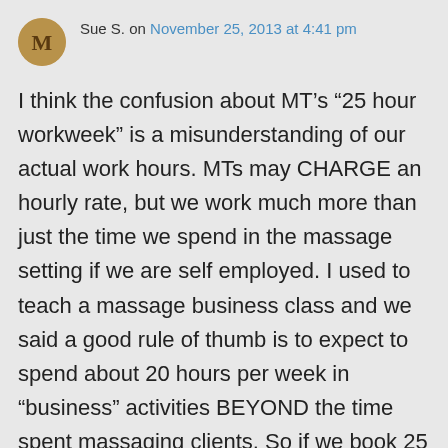[Figure (illustration): Circular avatar icon with letter M on dark gold/brown background]
Sue S. on November 25, 2013 at 4:41 pm
I think the confusion about MT’s “25 hour workweek” is a misunderstanding of our actual work hours. MTs may CHARGE an hourly rate, but we work much more than just the time we spend in the massage setting if we are self employed. I used to teach a massage business class and we said a good rule of thumb is to expect to spend about 20 hours per week in “business” activities BEYOND the time spent massaging clients. So if we book 25 clients we